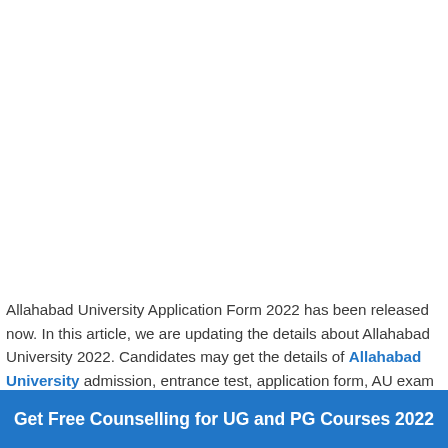Allahabad University Application Form 2022 has been released now. In this article, we are updating the details about Allahabad University 2022. Candidates may get the details of Allahabad University admission, entrance test, application form, AU exam dates, etc.
Get Free Counselling for UG and PG Courses 2022